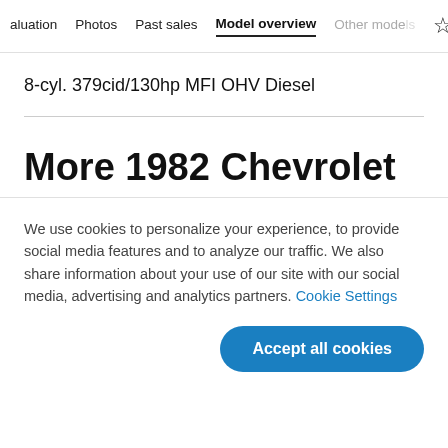aluation  Photos  Past sales  Model overview  Other models  ☆
8-cyl. 379cid/130hp MFI OHV Diesel
More 1982 Chevrolet
We use cookies to personalize your experience, to provide social media features and to analyze our traffic. We also share information about your use of our site with our social media, advertising and analytics partners. Cookie Settings
Accept all cookies